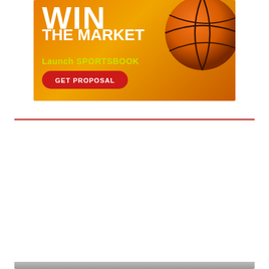[Figure (infographic): Advertisement banner with orange gradient background, basketball, text 'WIN THE MARKET Launch SPORTSBOOK GET PROPOSAL' with a red button.]
Your Daily Asia Gaming eBrief: Singapore Special
AGBrief Editorial - August 25, 2022